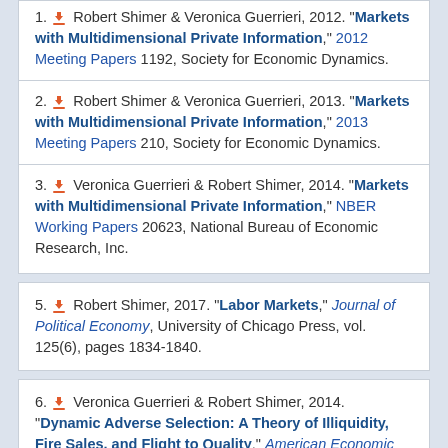1. [download] Robert Shimer & Veronica Guerrieri, 2012. "Markets with Multidimensional Private Information," 2012 Meeting Papers 1192, Society for Economic Dynamics.
2. [download] Robert Shimer & Veronica Guerrieri, 2013. "Markets with Multidimensional Private Information," 2013 Meeting Papers 210, Society for Economic Dynamics.
3. [download] Veronica Guerrieri & Robert Shimer, 2014. "Markets with Multidimensional Private Information," NBER Working Papers 20623, National Bureau of Economic Research, Inc.
5. [download] Robert Shimer, 2017. "Labor Markets," Journal of Political Economy, University of Chicago Press, vol. 125(6), pages 1834-1840.
6. [download] Veronica Guerrieri & Robert Shimer, 2014. "Dynamic Adverse Selection: A Theory of Illiquidity, Fire Sales, and Flight to Quality," American Economic